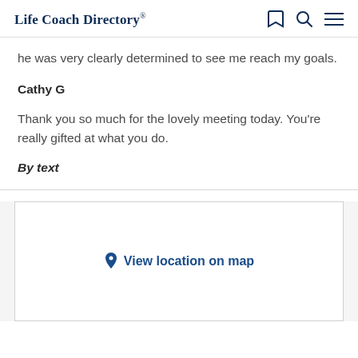Life Coach Directory®
he was very clearly determined to see me reach my goals.
Cathy G
Thank you so much for the lovely meeting today. You're really gifted at what you do.
By text
View location on map